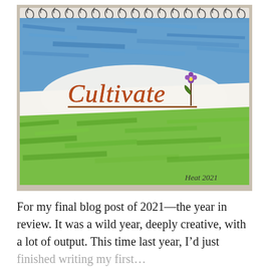[Figure (illustration): A hand-drawn illustration on a spiral-bound sketchbook page. The background shows blue watercolor/marker strokes at the top forming a sky, and bright green strokes at the bottom forming grass. In the center, the word 'Cultivate' is written in brown/orange hand-lettered script with a small hand-drawn purple flower on a stem to its right, and a brown horizontal line underneath. The signature 'Heat 2021' appears in the bottom right corner. The spiral binding is visible at the top.]
For my final blog post of 2021–the year in review. It was a wild year, deeply creative, with a lot of output. This time last year, I'd just finished writing my first…